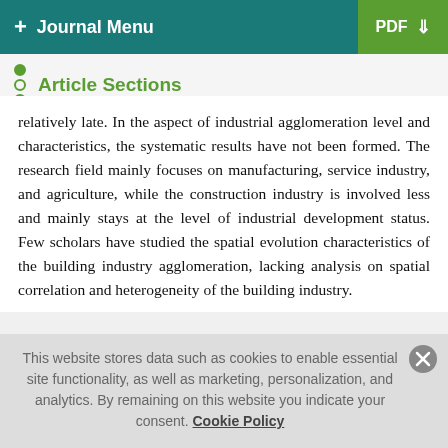+ Journal Menu  PDF ↓
Article Sections
relatively late. In the aspect of industrial agglomeration level and characteristics, the systematic results have not been formed. The research field mainly focuses on manufacturing, service industry, and agriculture, while the construction industry is involved less and mainly stays at the level of industrial development status. Few scholars have studied the spatial evolution characteristics of the building industry agglomeration, lacking analysis on spatial correlation and heterogeneity of the building industry.
Based on the building output value of panel data from China's 31 provinces, autonomous regions, and municipalities directly under the Central Government and Xinjiang Production and...
This website stores data such as cookies to enable essential site functionality, as well as marketing, personalization, and analytics. By remaining on this website you indicate your consent. Cookie Policy